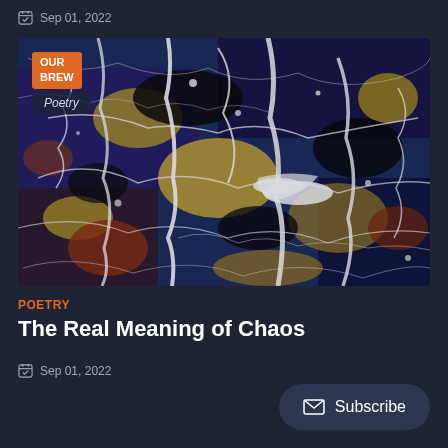Sep 01, 2022
[Figure (illustration): Abstract expressionist painting in the style of Jackson Pollock with chaotic drips and splatters of white, black, yellow, blue, and brown paint. Overlaid with 'OUR BREW' logo badge in orange and 'Poetry' label in semi-transparent box.]
POETRY
The Real Meaning of Chaos
Sep 01, 2022
Subscribe